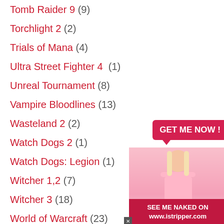Tomb Raider 9 (9)
Torchlight 2 (2)
Trials of Mana (4)
Ultra Street Fighter 4 (1)
Unreal Tournament (8)
Vampire Bloodlines (13)
Wasteland 2 (2)
Watch Dogs 2 (1)
Watch Dogs: Legion (1)
Witcher 1,2 (7)
Witcher 3 (18)
World of Warcraft (23)
WOW Clothing skins (13)
WOW Loading screen (4)
[Figure (photo): Advertisement banner with a blonde woman in pink lingerie, red speech bubble saying GET ME NOW!, and footer text SEE ME NAKED ON www.istripper.com]